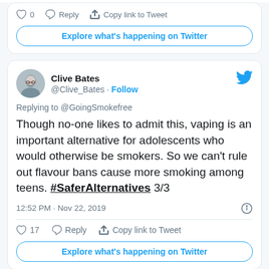[Figure (screenshot): Partial top tweet card showing action bar with like (0), Reply, Copy link to Tweet, and Explore what's happening on Twitter button]
[Figure (screenshot): Tweet by Clive Bates (@Clive_Bates) replying to @GoingSmokefree: 'Though no-one likes to admit this, vaping is an important alternative for adolescents who would otherwise be smokers. So we can't rule out flavour bans cause more smoking among teens. #SaferAlternatives 3/3' posted at 12:52 PM Nov 22, 2019, with 17 likes, Reply, Copy link to Tweet, and Explore what's happening on Twitter button]